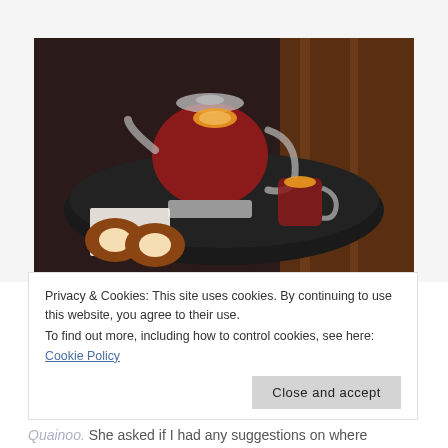[Figure (photo): A glass teapot filled with dark red tea and an orange slice, sitting on a metal warmer stand on a round dark tray. A small glass mug of red tea with an orange slice is beside it. Two round pastries on a napkin are in the foreground. Background shows dark wood paneling.]
Privacy & Cookies: This site uses cookies. By continuing to use this website, you agree to their use.
To find out more, including how to control cookies, see here: Cookie Policy
Close and accept
Quainoo. She asked if I had any suggestions on where